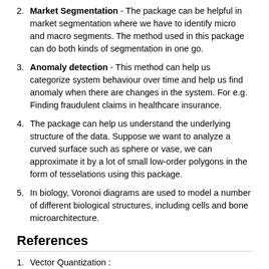2. Market Segmentation - The package can be helpful in market segmentation where we have to identify micro and macro segments. The method used in this package can do both kinds of segmentation in one go.
3. Anomaly detection - This method can help us categorize system behaviour over time and help us find anomaly when there are changes in the system. For e.g. Finding fraudulent claims in healthcare insurance.
4. The package can help us understand the underlying structure of the data. Suppose we want to analyze a curved surface such as sphere or vase, we can approximate it by a lot of small low-order polygons in the form of tesselations using this package.
5. In biology, Voronoi diagrams are used to model a number of different biological structures, including cells and bone microarchitecture.
References
1. Vector Quantization : https://ocw.mit.edu/courses/electrical-engineering-and-computer-science/6-450-principles-of-digital